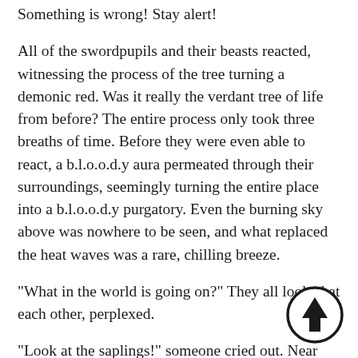Something is wrong! Stay alert!
All of the swordpupils and their beasts reacted, witnessing the process of the tree turning a demonic red. Was it really the verdant tree of life from before? The entire process only took three breaths of time. Before they were even able to react, a b.l.o.o.d.y aura permeated through their surroundings, seemingly turning the entire place into a b.l.o.o.d.y purgatory. Even the burning sky above was nowhere to be seen, and what replaced the heat waves was a rare, chilling breeze.
"What in the world is going on?" They all looked at each other, perplexed.
"Look at the saplings!" someone cried out. Near the saplings where the b.l.o.o.d.y mist was at its densest, some